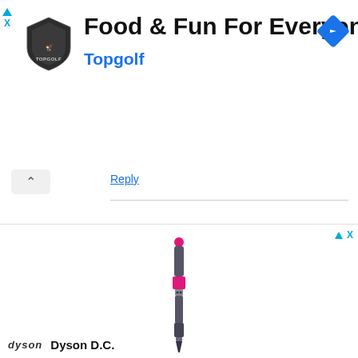[Figure (screenshot): Topgolf advertisement banner with logo, title 'Food & Fun For Everyone', and navigation diamond icon]
Food & Fun For Everyone
Topgolf
Reply
[Figure (photo): Dyson hair styling wand/curler product image, dark gray with fuchsia/pink accent band]
Dyson D.C.